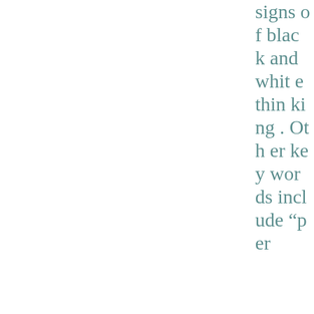signs of black and white thinking. Other keywords include “per